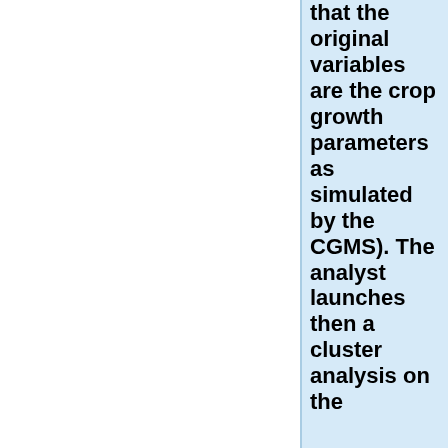that the original variables are the crop growth parameters as simulated by the CGMS). The analyst launches then a cluster analysis on the